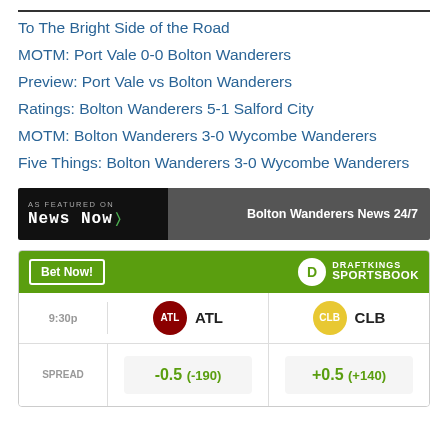To The Bright Side of the Road
MOTM: Port Vale 0-0 Bolton Wanderers
Preview: Port Vale vs Bolton Wanderers
Ratings: Bolton Wanderers 5-1 Salford City
MOTM: Bolton Wanderers 3-0 Wycombe Wanderers
Five Things: Bolton Wanderers 3-0 Wycombe Wanderers
[Figure (logo): News Now - As Featured On banner with Bolton Wanderers News 24/7]
[Figure (other): DraftKings Sportsbook widget showing ATL vs CLB matchup at 9:30p with spread -0.5 (-190) and +0.5 (+140)]